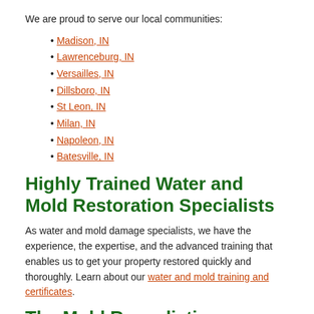We are proud to serve our local communities:
Madison, IN
Lawrenceburg, IN
Versailles, IN
Dillsboro, IN
St Leon, IN
Milan, IN
Napoleon, IN
Batesville, IN
Highly Trained Water and Mold Restoration Specialists
As water and mold damage specialists, we have the experience, the expertise, and the advanced training that enables us to get your property restored quickly and thoroughly. Learn about our water and mold training and certificates.
The Mold Remediation Process
Every mold damage scenario is different and requires a